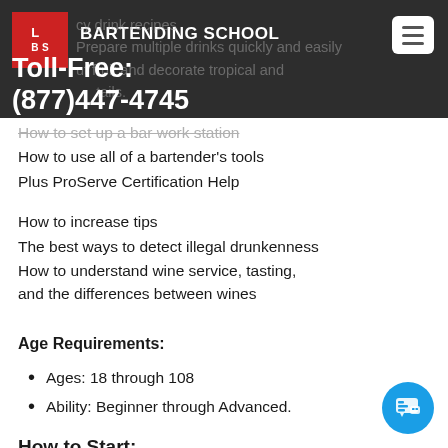LBS BARTENDING SCHOOL | Toll-Free: (877)447-4745
How to use all of a bartender's tools
Plus ProServe Certification Help
How to increase tips
The best ways to detect illegal drunkenness
How to understand wine service, tasting, and the differences between wines
Age Requirements:
Ages: 18 through 108
Ability: Beginner through Advanced.
How to Start: